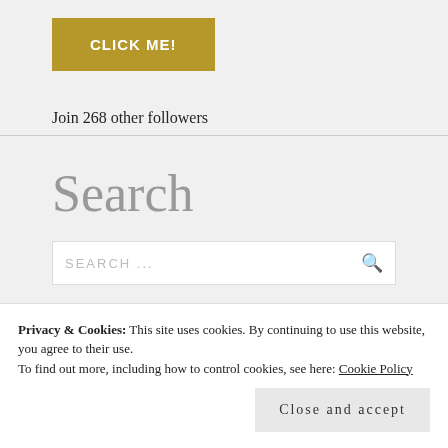[Figure (other): Golden/olive colored button with white bold text reading 'CLICK ME!']
Join 268 other followers
Search
SEARCH ...
Privacy & Cookies: This site uses cookies. By continuing to use this website, you agree to their use.
To find out more, including how to control cookies, see here: Cookie Policy
Close and accept